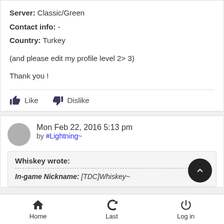Server: Classic/Green
Contact info: -
Country: Turkey

(and please edit my profile level 2> 3)

Thank you !
Like  Dislike
Mon Feb 22, 2016 5:13 pm
by #Lightning~
Whiskey wrote:
In-game Nickname: [TDC]Whiskey~
Home  Last  Log in